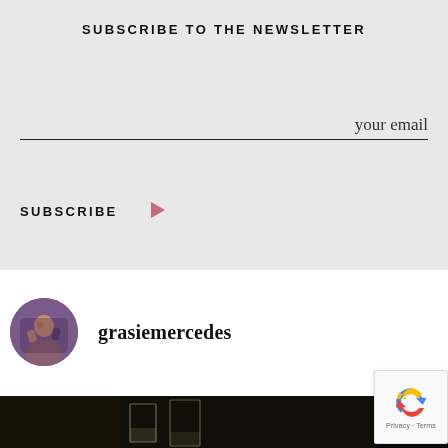SUBSCRIBE TO THE NEWSLETTER
your email
SUBSCRIBE
grasiemercedes
[Figure (photo): Dark restaurant/bar scene with glasses on a table]
[Figure (other): reCAPTCHA badge with Privacy - Terms text]